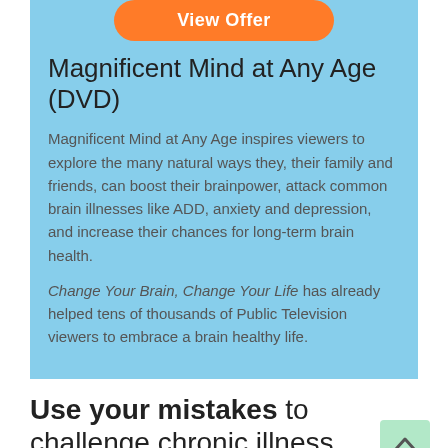[Figure (other): Orange rounded button partially visible at top reading 'View Offer']
Magnificent Mind at Any Age (DVD)
Magnificent Mind at Any Age inspires viewers to explore the many natural ways they, their family and friends, can boost their brainpower, attack common brain illnesses like ADD, anxiety and depression, and increase their chances for long-term brain health.
Change Your Brain, Change Your Life has already helped tens of thousands of Public Television viewers to embrace a brain healthy life.
Use your mistakes to challenge chronic illness
Learning from mistakes is an essential part of evolution. If